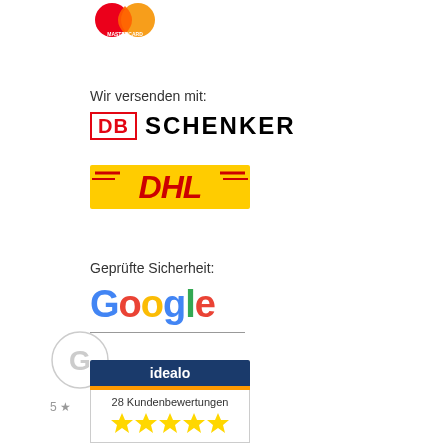[Figure (logo): Mastercard logo (partially visible at top)]
Wir versenden mit:
[Figure (logo): DB Schenker logo with red DB box and bold SCHENKER text]
[Figure (logo): DHL logo on yellow background with red lettering]
Geprüfte Sicherheit:
[Figure (logo): Google logo in multicolor letters with underline]
[Figure (logo): Idealo badge showing 28 Kundenbewertungen with 5 gold stars]